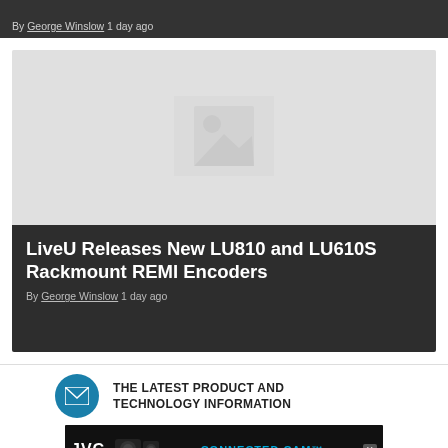By George Winslow 1 day ago
[Figure (photo): Placeholder image card with gray background and image placeholder icon]
LiveU Releases New LU810 and LU610S Rackmount REMI Encoders
By George Winslow 1 day ago
THE LATEST PRODUCT AND TECHNOLOGY INFORMATION
[Figure (photo): JVC Connected Cam advertisement banner with cameras]